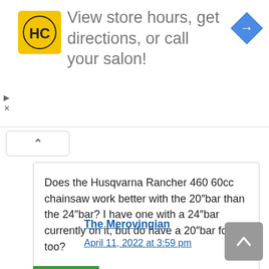[Figure (other): Advertisement banner with HC logo (yellow square with black HC text), text 'View store hours, get directions, or call your salon!' and a blue navigation arrow icon on the right. Small play and X controls on left side.]
Does the Husqvarna Rancher 460 60cc chainsaw work better with the 20″bar than the 24″bar? I have one with a 24″bar currently on it, but do have a 20″bar for it too?
Reply
The Merovingian
April 11, 2022 at 3:59 pm